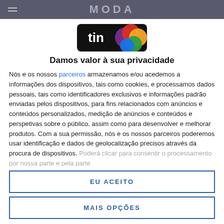MODA
[Figure (logo): TIN logo with colorful circles (red, yellow, green, blue, purple) on black background]
Damos valor à sua privacidade
Nós e os nossos parceiros armazenamos e/ou acedemos a informações dos dispositivos, tais como cookies, e processamos dados pessoais, tais como identificadores exclusivos e informações padrão enviadas pelos dispositivos, para fins relacionados com anúncios e conteúdos personalizados, medição de anúncios e conteúdos e perspetivas sobre o público, assim como para desenvolver e melhorar produtos. Com a sua permissão, nós e os nossos parceiros poderemos usar identificação e dados de geolocalização precisos através da procura de dispositivos. Poderá clicar para consentir o processamento por nossa parte e pela parte
EU ACEITO
MAIS OPÇÕES